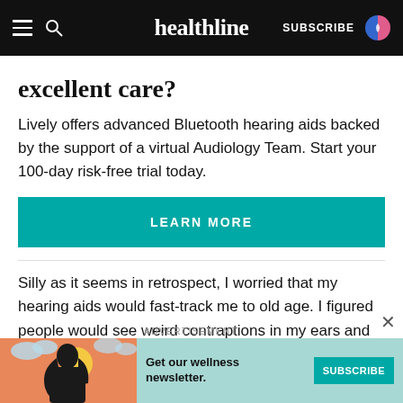healthline — SUBSCRIBE
excellent care?
Lively offers advanced Bluetooth hearing aids backed by the support of a virtual Audiology Team. Start your 100-day risk-free trial today.
LEARN MORE
Silly as it seems in retrospect, I worried that my hearing aids would fast-track me to old age. I figured people would see weird contraptions in my ears and instantly make assumptions. They would feel sorry for
[Figure (illustration): Advertisement banner with illustrated woman and 'Get our wellness newsletter.' text with a SUBSCRIBE button]
ADVERTISEMENT